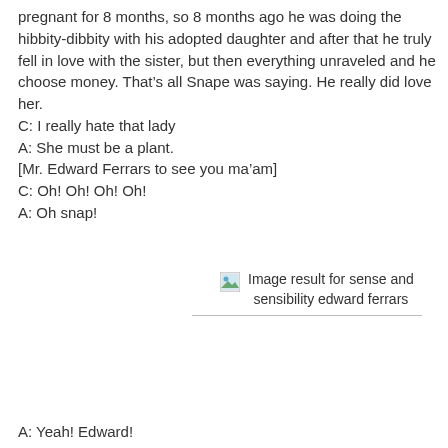pregnant for 8 months, so 8 months ago he was doing the hibbity-dibbity with his adopted daughter and after that he truly fell in love with the sister, but then everything unraveled and he choose money. That's all Snape was saying. He really did love her.
C: I really hate that lady
A: She must be a plant.
[Mr. Edward Ferrars to see you ma’am]
C: Oh! Oh! Oh! Oh!
A: Oh snap!
[Figure (other): Broken image placeholder with caption: Image result for sense and sensibility edward ferrars]
A: Yeah! Edward!